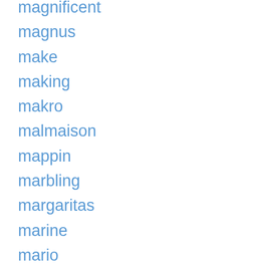magnificent
magnus
make
making
makro
malmaison
mappin
marbling
margaritas
marine
mario
marius
mark
married
martin
massive
matched